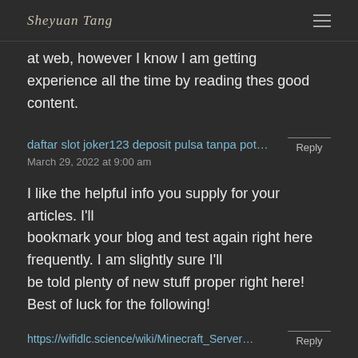Sheyuan Tang
at web, however I know I am getting experience all the time by reading thes good content.
daftar slot joker123 deposit pulsa tanpa pot…
March 29, 2022 at 9:00 am
I like the helpful info you supply for your articles. I'll bookmark your blog and test again right here frequently. I am slightly sure I'll be told plenty of new stuff proper right here! Best of luck for the following!
https://wifidlc.science/wiki/Minecraft_Server…